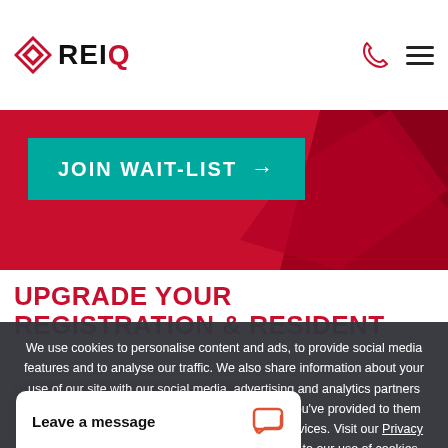REIQ
[Figure (screenshot): REIQ logo with diamond shape icon and REIQ text, phone icon and hamburger menu on the right]
[Figure (screenshot): Red banner with teal JOIN WAIT-LIST button with arrow, and decorative geometric shapes]
UPGRADE YOUR REGISTRATION & RESIDENT
We use cookies to personalise content and ads, to provide social media features and to analyse our traffic. We also share information about your use of our site with our social media, advertising and analytics partners who may combine it with other information that you've provided to them or that they've collected from your use of their services. Visit our Privacy Policy to learn more. By using our site, you agree to our use of cookies.
Leave a message